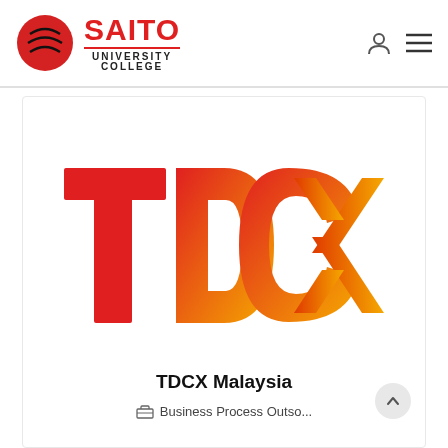[Figure (logo): Saito University College logo with red circle emblem and red SAITO text, UNIVERSITY COLLEGE below]
[Figure (logo): TDCX company logo in red, orange, and yellow gradient lettering]
TDCX Malaysia
Business Process Outso...